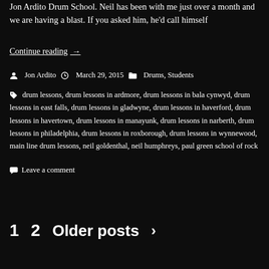Jon Ardito Drum School. Neil has been with me just over a month and we are having a blast. If you asked him, he'd call himself
Continue reading →
Jon Ardito   March 29, 2015   Drums, Students
drum lessons, drum lessons in ardmore, drum lessons in bala cynwyd, drum lessons in east falls, drum lessons in gladwyne, drum lessons in haverford, drum lessons in havertown, drum lessons in manayunk, drum lessons in narberth, drum lessons in philadelphia, drum lessons in roxborough, drum lessons in wynnewood, main line drum lessons, neil goldenthal, neil humphreys, paul green school of rock
Leave a comment
1  2  Older posts  >